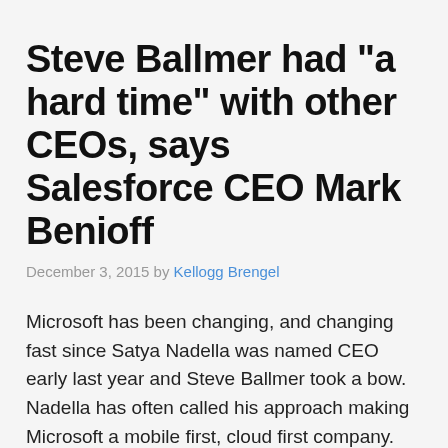Steve Ballmer had "a hard time" with other CEOs, says Salesforce CEO Mark Benioff
December 3, 2015 by Kellogg Brengel
Microsoft has been changing, and changing fast since Satya Nadella was named CEO early last year and Steve Ballmer took a bow. Nadella has often called his approach making Microsoft a mobile first, cloud first company. And now, the better part of